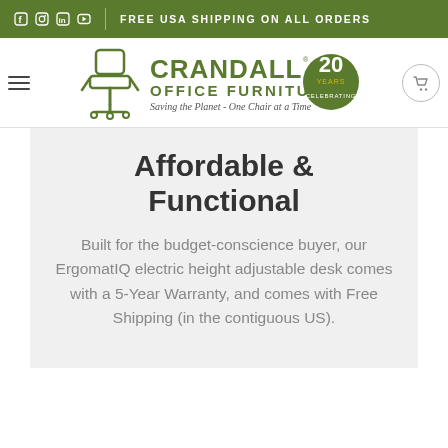FREE USA SHIPPING ON ALL ORDERS
[Figure (logo): Crandall Office Furniture logo with chair icon, '20 Years Celebrating' badge, tagline 'Saving the Planet - One Chair at a Time']
Affordable & Functional
Built for the budget-conscience buyer, our ErgomatIQ electric height adjustable desk comes with a 5-Year Warranty, and comes with Free Shipping (in the contiguous US).